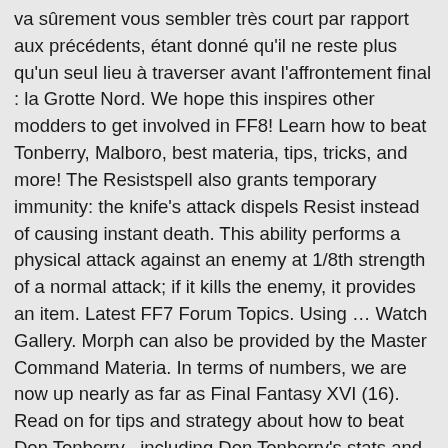va sûrement vous sembler très court par rapport aux précédents, étant donné qu'il ne reste plus qu'un seul lieu à traverser avant l'affrontement final : la Grotte Nord. We hope this inspires other modders to get involved in FF8! Learn how to beat Tonberry, Malboro, best materia, tips, tricks, and more! The Resistspell also grants temporary immunity: the knife's attack dispels Resist instead of causing instant death. This ability performs a physical attack against an enemy at 1/8th strength of a normal attack; if it kills the enemy, it provides an item. Latest FF7 Forum Topics. Using … Watch Gallery. Morph can also be provided by the Master Command Materia. In terms of numbers, we are now up nearly as far as Final Fantasy XVI (16). Read on for tips and strategy about how to beat Don Tonberry , including Don Tonberry's stats and other useful information. If you are interested in renting out advertising space, please email me and hopefully we can come to a deal. It aims to feature the more significant items you can morph in Final Fantasy VII only. Master-Befehl, Morph, Nachahmen, Stehlen, Todesschlag, Werfen: Kauf-/Fundort: Nach Yuffies Side-Quest in einer Kiste im Substanz-Laden: MP-Turbo: